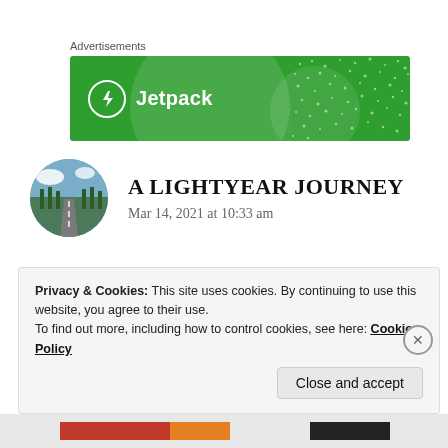Advertisements
[Figure (illustration): Jetpack advertisement banner with green background, circular decorative elements, dot pattern, and Jetpack logo with lightning bolt icon and brand name in white text.]
[Figure (photo): Circular avatar photo showing a road lined with tall trees leading into the distance under a blue sky with clouds — blog avatar for 'A Lightyear Journey'.]
A LIGHTYEAR JOURNEY
Mar 14, 2021 at 10:33 am
Privacy & Cookies: This site uses cookies. By continuing to use this website, you agree to their use.
To find out more, including how to control cookies, see here: Cookie Policy
Close and accept